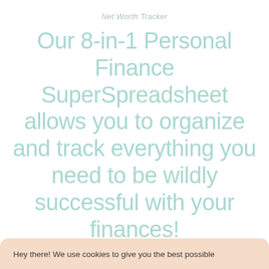Net Worth Tracker
Our 8-in-1 Personal Finance SuperSpreadsheet allows you to organize and track everything you need to be wildly successful with your finances!
Hey there! We use cookies to give you the best possible